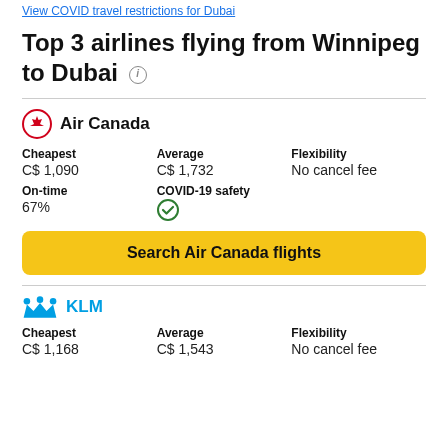View COVID travel restrictions for Dubai
Top 3 airlines flying from Winnipeg to Dubai
Air Canada
| Cheapest | Average | Flexibility |
| --- | --- | --- |
| C$ 1,090 | C$ 1,732 | No cancel fee |
| On-time | COVID-19 safety |
| --- | --- |
| 67% | ✓ |
Search Air Canada flights
KLM
| Cheapest | Average | Flexibility |
| --- | --- | --- |
| C$ 1,168 | C$ 1,543 | No cancel fee |